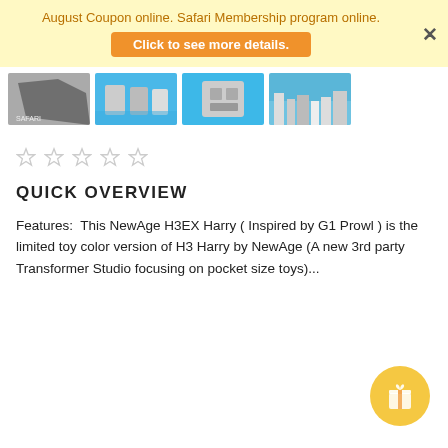August Coupon online. Safari Membership program online. Click to see more details.
[Figure (photo): Row of four product thumbnail images showing toy/figurine products against blue background]
[Figure (other): Five empty star rating icons]
QUICK OVERVIEW
Features:  This NewAge H3EX Harry ( Inspired by G1 Prowl ) is the limited toy color version of H3 Harry by NewAge (A new 3rd party Transformer Studio focusing on pocket size toys)...